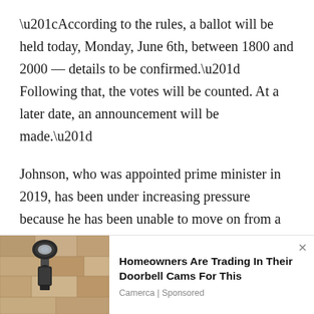“According to the rules, a ballot will be held today, Monday, June 6th, between 1800 and 2000 — details to be confirmed.” Following that, the votes will be counted. At a later date, an announcement will be made.”
Johnson, who was appointed prime minister in 2019, has been under increasing pressure because he has been unable to move on from a scathing revelation about parties hosted in his Downing Street office and apartment during the COVID-19
[Figure (photo): Photo of an outdoor wall-mounted security camera or light fixture on a stone/stucco wall]
Homeowners Are Trading In Their Doorbell Cams For This
Camerca | Sponsored